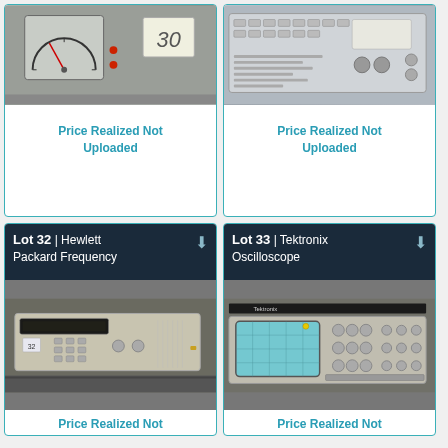[Figure (photo): Photo of auction lot 30 - an analog meter/gauge instrument with a tag showing '30', metallic casing]
Price Realized Not Uploaded
[Figure (photo): Photo of auction lot 31 - electronic test equipment with front panel controls, knobs and connectors]
Price Realized Not Uploaded
Lot 32 | Hewlett Packard Frequency
[Figure (photo): Photo of Hewlett Packard Frequency synthesizer/counter, beige rack-mount instrument with keypad]
Price Realized Not
Lot 33 | Tektronix Oscilloscope
[Figure (photo): Photo of Tektronix oscilloscope with blue CRT screen and multiple front panel controls and knobs]
Price Realized Not